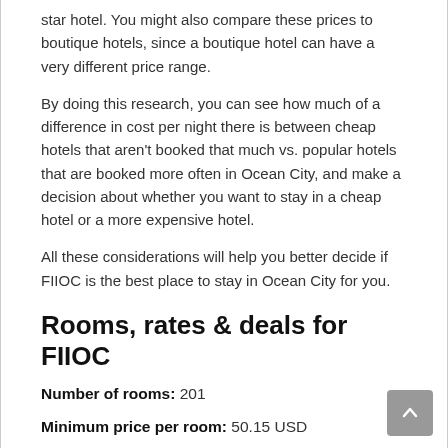star hotel. You might also compare these prices to boutique hotels, since a boutique hotel can have a very different price range.
By doing this research, you can see how much of a difference in cost per night there is between cheap hotels that aren't booked that much vs. popular hotels that are booked more often in Ocean City, and make a decision about whether you want to stay in a cheap hotel or a more expensive hotel.
All these considerations will help you better decide if FIIOC is the best place to stay in Ocean City for you.
Rooms, rates & deals for FIIOC
Number of rooms: 201
Minimum price per room: 50.15 USD
Maximum rate per room: USD